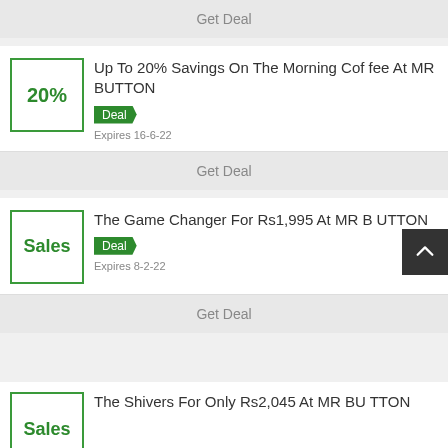Get Deal
Up To 20% Savings On The Morning Coffee At MR BUTTON
Deal
Expires 16-6-22
Get Deal
The Game Changer For Rs1,995 At MR BUTTON
Deal
Expires 8-2-22
Get Deal
The Shivers For Only Rs2,045 At MR BUTTON